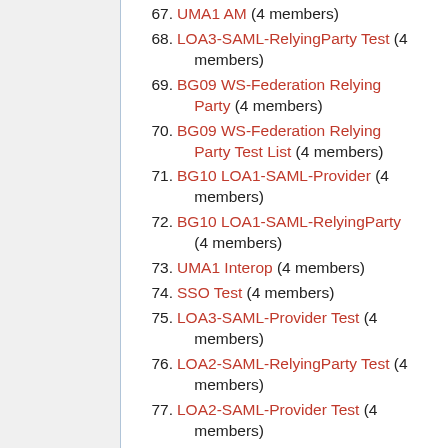67. UMA1 AM (4 members)
68. LOA3-SAML-RelyingParty Test (4 members)
69. BG09 WS-Federation Relying Party (4 members)
70. BG09 WS-Federation Relying Party Test List (4 members)
71. BG10 LOA1-SAML-Provider (4 members)
72. BG10 LOA1-SAML-RelyingParty (4 members)
73. UMA1 Interop (4 members)
74. SSO Test (4 members)
75. LOA3-SAML-Provider Test (4 members)
76. LOA2-SAML-RelyingParty Test (4 members)
77. LOA2-SAML-Provider Test (4 members)